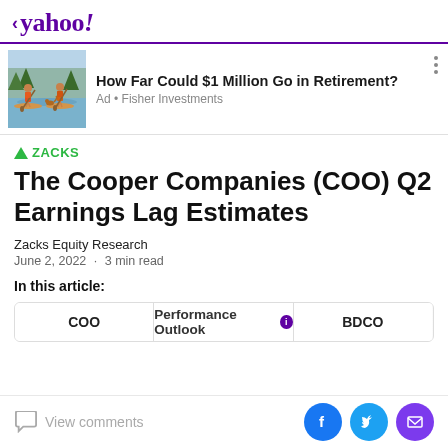< yahoo!
[Figure (infographic): Advertisement banner with illustration of two people paddle boarding with a dog. Title: 'How Far Could $1 Million Go in Retirement?' Ad • Fisher Investments]
▲ ZACKS
The Cooper Companies (COO) Q2 Earnings Lag Estimates
Zacks Equity Research
June 2, 2022 · 3 min read
In this article:
COO | Performance Outlook | BDCO
View comments